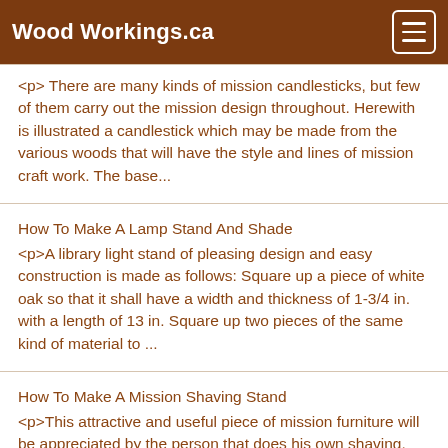Wood Workings.ca
<p> There are many kinds of mission candlesticks, but few of them carry out the mission design throughout. Herewith is illustrated a candlestick which may be made from the various woods that will have the style and lines of mission craft work. The base...
How To Make A Lamp Stand And Shade
<p>A library light stand of pleasing design and easy construction is made as follows: Square up a piece of white oak so that it shall have a width and thickness of 1-3/4 in. with a length of 13 in. Square up two pieces of the same kind of material to ...
How To Make A Mission Shaving Stand
<p>This attractive and useful piece of mission furniture will be appreciated by the person that does his own shaving. The shaving stand can be made at home by a handy man in his spare time as the stock can be